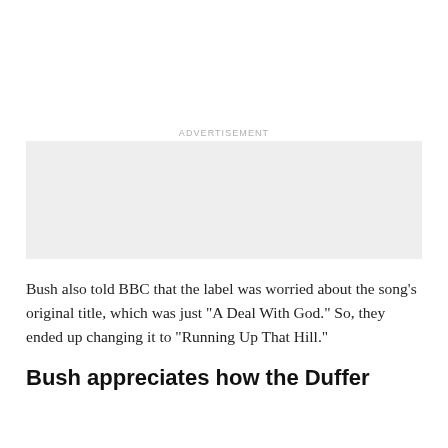[Figure (other): Advertisement placeholder box (gray rectangle)]
Bush also told BBC that the label was worried about the song's original title, which was just “A Deal With God.” So, they ended up changing it to “Running Up That Hill.”
Bush appreciates how the Duffer